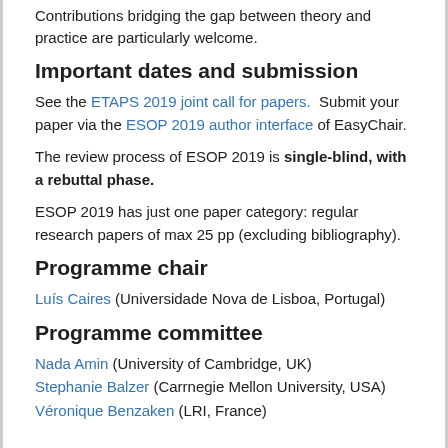Contributions bridging the gap between theory and practice are particularly welcome.
Important dates and submission
See the ETAPS 2019 joint call for papers.  Submit your paper via the ESOP 2019 author interface of EasyChair.
The review process of ESOP 2019 is single-blind, with a rebuttal phase.
ESOP 2019 has just one paper category: regular research papers of max 25 pp (excluding bibliography).
Programme chair
Luís Caires (Universidade Nova de Lisboa, Portugal)
Programme committee
Nada Amin (University of Cambridge, UK)
Stephanie Balzer (Carrnegie Mellon University, USA)
Véronique Benzaken (LRI, France)